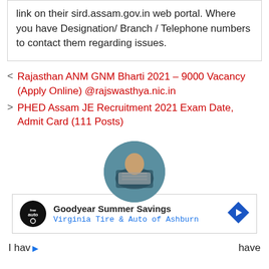link on their sird.assam.gov.in web portal. Where you have Designation/ Branch / Telephone numbers to contact them regarding issues.
< Rajasthan ANM GNM Bharti 2021 – 9000 Vacancy (Apply Online) @rajswasthya.nic.in
> PHED Assam JE Recruitment 2021 Exam Date, Admit Card (111 Posts)
[Figure (photo): Circular avatar image of a person typing on a laptop, partially visible, with teal/dark background tones]
Goodyear Summer Savings Virginia Tire & Auto of Ashburn [advertisement banner]
I hav ... have